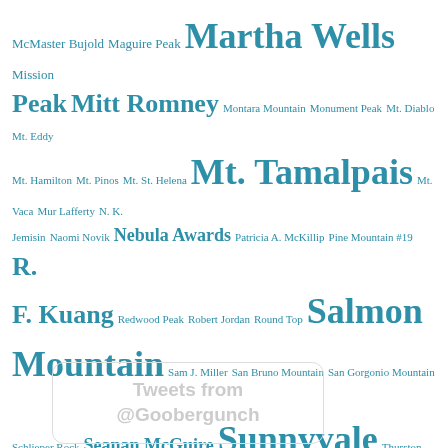[Figure (infographic): Tag cloud in teal/blue color with varying font sizes showing: McMaster Bujold, Maguire Peak, Martha Wells, Mission Peak, Mitt Romney, Montara Mountain, Monument Peak, Mt. Diablo, Mt. Eddy, Mt. Hamilton, Mt. Pinos, Mt. St. Helena, Mt. Tamalpais, Mt. Vaca, Mur Lafferty, N. K. Jemisin, Naomi Novik, Nebula Awards, Patricia A. McKillip, Pine Mountain #19, R. F. Kuang, Redwood Peak, Robert Jordan, Round Top, Salmon Mountain, Sam J. Miller, San Bruno Mountain, San Gorgonio Mountain, Schlieper Rock, Seanan McGuire, Sunnyvale, Thurston Peak, Twin Peaks, Ursula K. Le Guin, Vollmer Peak, Vorkosigan Saga, White Mountain Peak, Windy Hill, Worldcon, Yoon Ha Lee]
[Figure (screenshot): Widget box with rounded border showing text 'Tweets from @Goobergunch' in light gray]